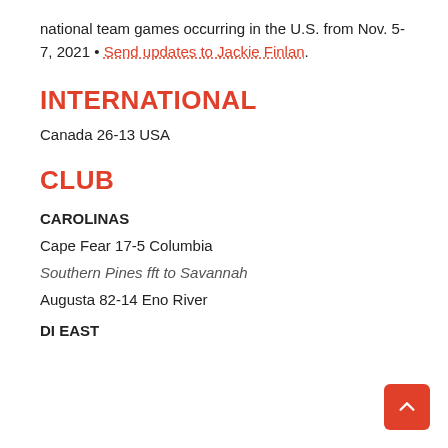national team games occurring in the U.S. from Nov. 5-7, 2021 • Send updates to Jackie Finlan.
INTERNATIONAL
Canada 26-13 USA
CLUB
CAROLINAS
Cape Fear 17-5 Columbia
Southern Pines fft to Savannah
Augusta 82-14 Eno River
DI EAST